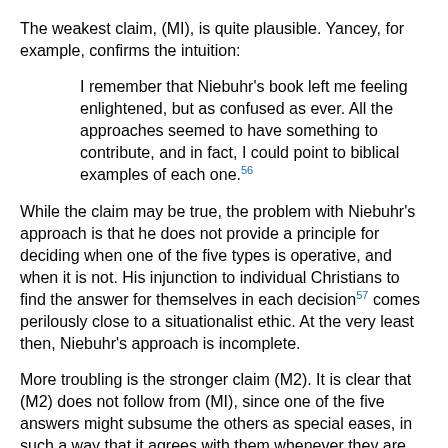The weakest claim, (MI), is quite plausible. Yancey, for example, confirms the intuition:
I remember that Niebuhr's book left me feeling enlightened, but as confused as ever. All the approaches seemed to have something to contribute, and in fact, I could point to biblical examples of each one.56
While the claim may be true, the problem with Niebuhr's approach is that he does not provide a principle for deciding when one of the five types is operative, and when it is not. His injunction to individual Christians to find the answer for themselves in each decision57 comes perilously close to a situationalist ethic. At the very least then, Niebuhr's approach is incomplete.
More troubling is the stronger claim (M2). It is clear that (M2) does not follow from (MI), since one of the five answers might subsume the others as special eases, in such a way that it agrees with them whenever they are appropriate and otherwise disagrees. Indeed, as Yoder has noted, in view of his logical strategy in presenting the five types, this seems to be exactly Niebuhr's tacit view of the transformation option.